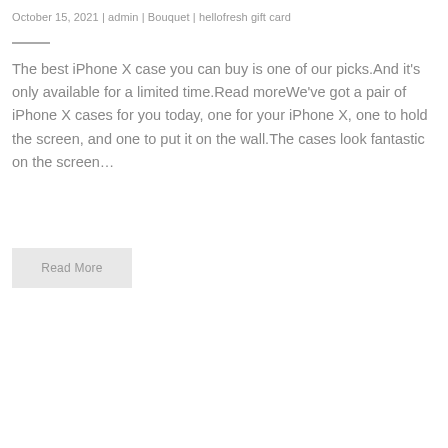October 15, 2021 | admin | Bouquet | hellofresh gift card
The best iPhone X case you can buy is one of our picks.And it's only available for a limited time.Read moreWe've got a pair of iPhone X cases for you today, one for your iPhone X, one to hold the screen, and one to put it on the wall.The cases look fantastic on the screen…
Read More